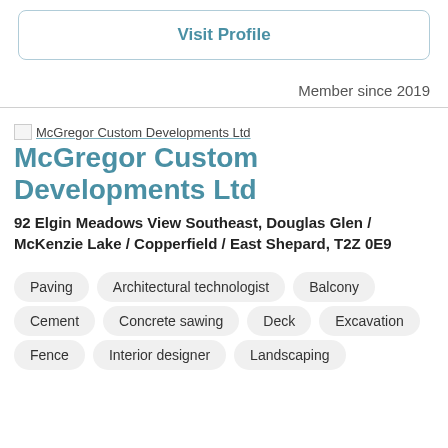Visit Profile
Member since 2019
McGregor Custom Developments Ltd
92 Elgin Meadows View Southeast, Douglas Glen / McKenzie Lake / Copperfield / East Shepard, T2Z 0E9
Paving
Architectural technologist
Balcony
Cement
Concrete sawing
Deck
Excavation
Fence
Interior designer
Landscaping